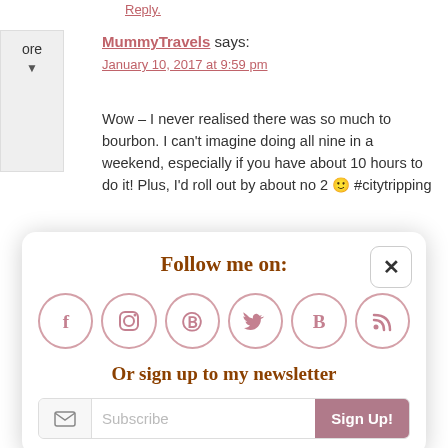Reply.
MummyTravels says:
January 10, 2017 at 9:59 pm
Wow – I never realised there was so much to bourbon. I can't imagine doing all nine in a weekend, especially if you have about 10 hours to do it! Plus, I'd roll out by about no 2 😊 #citytripping
Reply
Follow me on:
[Figure (infographic): Social media icons in circles: Facebook (f), Instagram, Pinterest, Twitter (bird), Bloglovin (B), RSS feed]
Or sign up to my newsletter
Subscribe
Sign Up!
I like to spread things out!
Reply